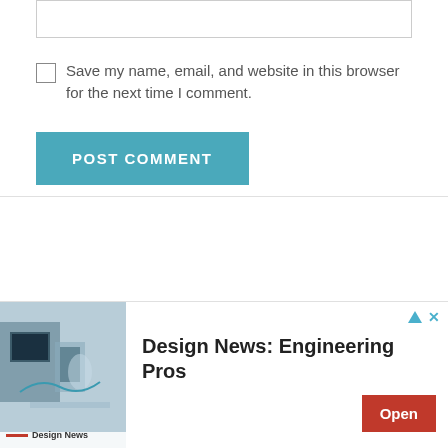Save my name, email, and website in this browser for the next time I comment.
POST COMMENT
[Figure (screenshot): Chevron/down-arrow tab on left side]
[Figure (screenshot): Advertisement banner: Design News: Engineering Pros with Open button and engineering lab photo]